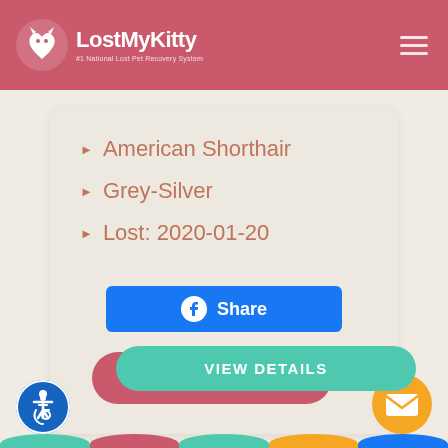LostMyKitty — #1 National Lost Pet Recovery System
American Shorthair
Grey-Silver
Lost: 2020-01-20
Share (Facebook button)
VIEW DETAILS